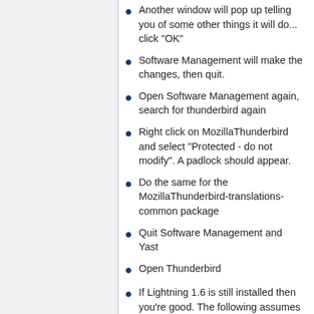Another window will pop up telling you of some other things it will do... click "OK"
Software Management will make the changes, then quit.
Open Software Management again, search for thunderbird again
Right click on MozillaThunderbird and select "Protected - do not modify". A padlock should appear.
Do the same for the MozillaThunderbird-translations-common package
Quit Software Management and Yast
Open Thunderbird
If Lightning 1.6 is still installed then you're good. The following assumes that Lightning got upgraded to 1.7 when you ran Thunderbird 15.
It might well tell you that Lightning...